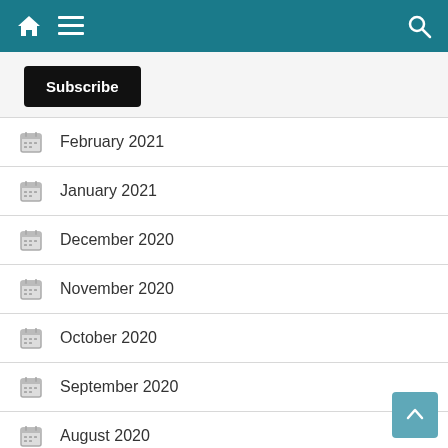Navigation header bar with home, menu, and search icons
Subscribe
February 2021
January 2021
December 2020
November 2020
October 2020
September 2020
August 2020
July 2020
June 2020